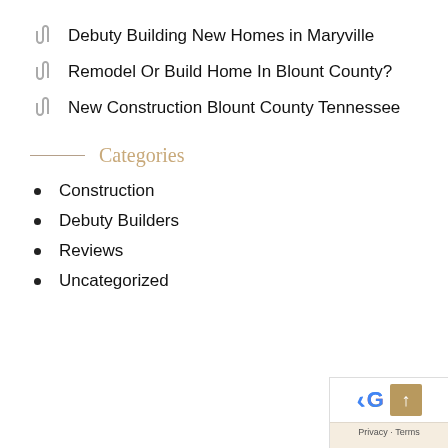Debuty Building New Homes in Maryville
Remodel Or Build Home In Blount County?
New Construction Blount County Tennessee
Categories
Construction
Debuty Builders
Reviews
Uncategorized
[Figure (other): Google Maps widget with back button and up arrow scroll-to-top button, Privacy and Terms text]